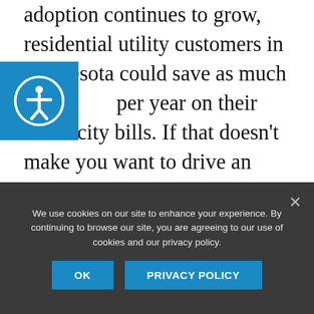adoption continues to grow, residential utility customers in Minnesota could save as much as per year on their electricity bills. If that doesn't make you want to drive an electric car, consider this: the report shows that in 2020, the cost of owning and operating an electric car in Minnesota will be $5,000-$5,500 less than the cost of owning and operating a comparable gasoline-powered car. For SUVs, the cost savings for going electric is even more—up to
We use cookies on our site to enhance your experience. By continuing to browse our site, you are agreeing to our use of cookies and our privacy policy.